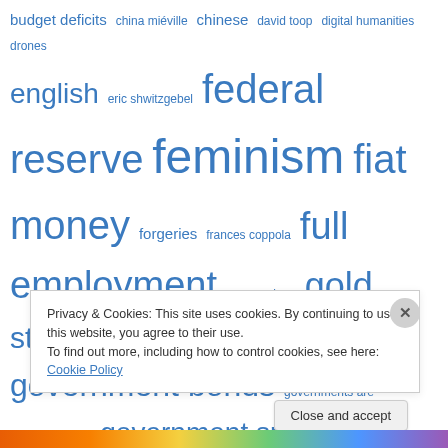budget deficits china miéville chinese david toop digital humanities drones english eric shwitzgebel federal reserve feminism fiat money forgeries frances coppola full employment gay marriage gold standard google google books government bonds governments are not households government spending great east japan earthquake great moderation hauntology homilies inflation jacques derrida jenny diski jg ballard jorge luis borges jrr tolkien kenneth goldsmith language ldp libraries london london underground l randall wray manuscripts medicare michael cucek misogyny monetary operations monetary
Privacy & Cookies: This site uses cookies. By continuing to use this website, you agree to their use. To find out more, including how to control cookies, see here: Cookie Policy
Close and accept